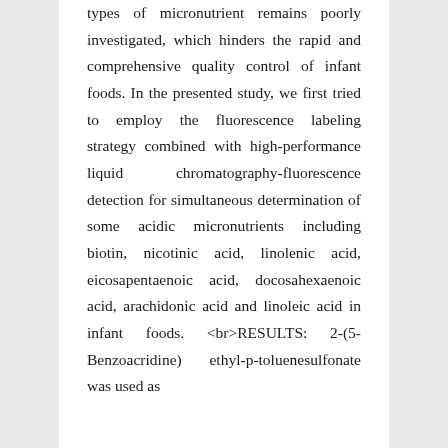types of micronutrient remains poorly investigated, which hinders the rapid and comprehensive quality control of infant foods. In the presented study, we first tried to employ the fluorescence labeling strategy combined with high-performance liquid chromatography-fluorescence detection for simultaneous determination of some acidic micronutrients including biotin, nicotinic acid, linolenic acid, eicosapentaenoic acid, docosahexaenoic acid, arachidonic acid and linoleic acid in infant foods. <br>RESULTS: 2-(5-Benzoacridine) ethyl-p-toluenesulfonate was used as